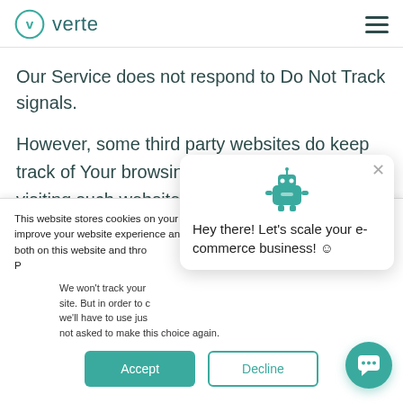verte
Our Service does not respond to Do Not Track signals.
However, some third party websites do keep track of Your browsing activities. If You are visiting such websites, You can set Your preferences in Your web browser to inform websites that You do not want to be tracked. You can
This website stores cookies on your computer. These cookies are used to improve your website experience and provide more personalized services to you, both on this website and through other media. To find out more about the cookies we use, see our Privacy Policy.
We won't track your information when you visit our site. But in order to comply with your preferences, we'll have to use just one tiny cookie so that you're not asked to make this choice again.
[Figure (illustration): Chat popup with robot icon saying: Hey there! Let's scale your e-commerce business! :)]
[Figure (illustration): Green circular chat FAB button with speech bubble icon]